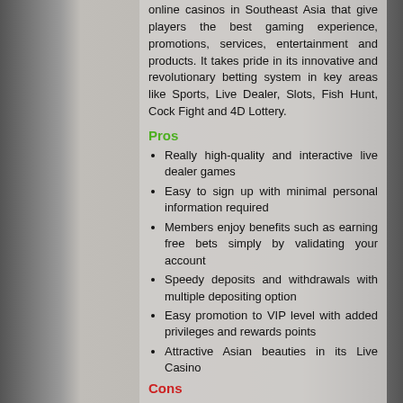online casinos in Southeast Asia that give players the best gaming experience, promotions, services, entertainment and products. It takes pride in its innovative and revolutionary betting system in key areas like Sports, Live Dealer, Slots, Fish Hunt, Cock Fight and 4D Lottery.
Pros
Really high-quality and interactive live dealer games
Easy to sign up with minimal personal information required
Members enjoy benefits such as earning free bets simply by validating your account
Speedy deposits and withdrawals with multiple depositing option
Easy promotion to VIP level with added privileges and rewards points
Attractive Asian beauties in its Live Casino
Cons
This casino is thin on its background information
How to sign up with U8Fun Casino
Signing up with U8Fun is easy and straightforward, and can be done in less than 5 minutes. Players simply need to follow these steps:
Click the JOIN button on the top right-hand corner of the homepage.